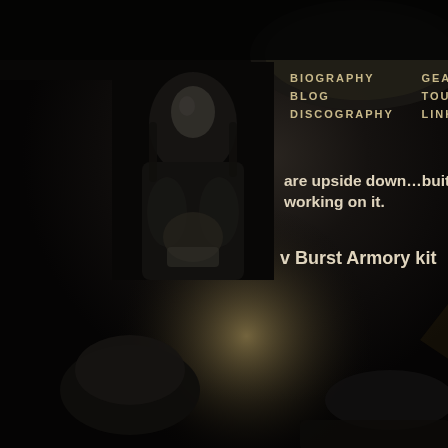[Figure (photo): Dark background photo of a drum kit in a dimly lit studio or stage setting, with cymbals, drum hardware, and what appears to be a leather chair or seat on the left side. The overall tone is very dark and moody.]
[Figure (photo): Black and white portrait photo of a long-haired person, appears to be a musician, shown in a small inset image in the upper left area of the page overlay.]
BIOGRAPHY   GEAR   BLOG   TOUR   DISCOGRAPHY   LINKS
are upside down…buit I ll working on it.
v Burst Armory kit